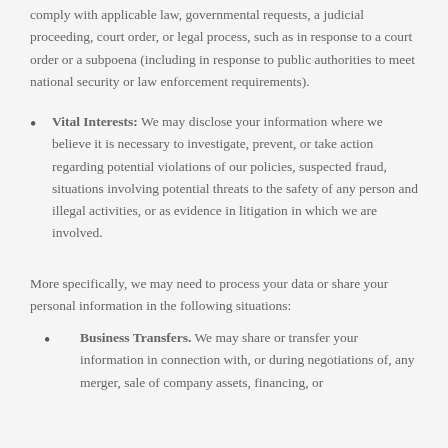comply with applicable law, governmental requests, a judicial proceeding, court order, or legal process, such as in response to a court order or a subpoena (including in response to public authorities to meet national security or law enforcement requirements).
Vital Interests: We may disclose your information where we believe it is necessary to investigate, prevent, or take action regarding potential violations of our policies, suspected fraud, situations involving potential threats to the safety of any person and illegal activities, or as evidence in litigation in which we are involved.
More specifically, we may need to process your data or share your personal information in the following situations:
Business Transfers. We may share or transfer your information in connection with, or during negotiations of, any merger, sale of company assets, financing, or